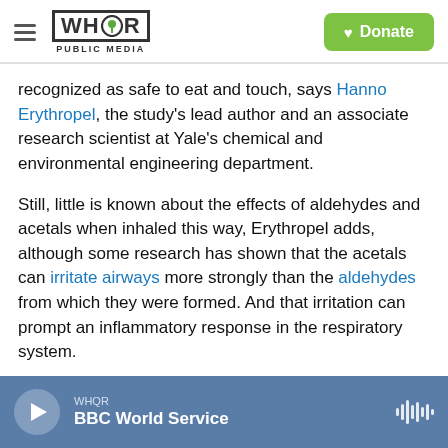WHQR PUBLIC MEDIA | Donate
recognized as safe to eat and touch, says Hanno Erythropel, the study's lead author and an associate research scientist at Yale's chemical and environmental engineering department.
Still, little is known about the effects of aldehydes and acetals when inhaled this way, Erythropel adds, although some research has shown that the acetals can irritate airways more strongly than the aldehydes from which they were formed. And that irritation can prompt an inflammatory response in the respiratory system.
WHQR | BBC World Service